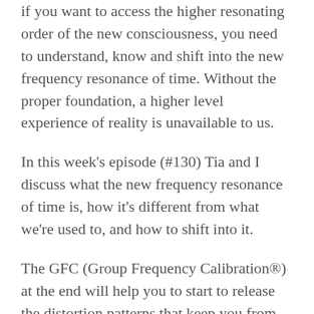if you want to access the higher resonating order of the new consciousness, you need to understand, know and shift into the new frequency resonance of time. Without the proper foundation, a higher level experience of reality is unavailable to us.
In this week's episode (#130) Tia and I discuss what the new frequency resonance of time is, how it's different from what we're used to, and how to shift into it.
The GFC (Group Frequency Calibration®) at the end will help you to start to release the distortion patterns that keep you from being able to integrate into the new, higher frequency resonance of time that is now available to us.